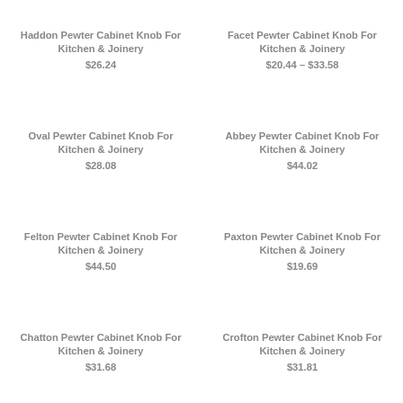Haddon Pewter Cabinet Knob For Kitchen & Joinery
$26.24
Facet Pewter Cabinet Knob For Kitchen & Joinery
$20.44 – $33.58
Oval Pewter Cabinet Knob For Kitchen & Joinery
$28.08
Abbey Pewter Cabinet Knob For Kitchen & Joinery
$44.02
Felton Pewter Cabinet Knob For Kitchen & Joinery
$44.50
Paxton Pewter Cabinet Knob For Kitchen & Joinery
$19.69
Chatton Pewter Cabinet Knob For Kitchen & Joinery
$31.68
Crofton Pewter Cabinet Knob For Kitchen & Joinery
$31.81